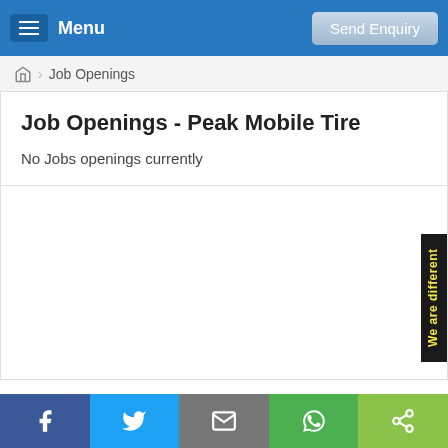Menu  |  Send Enquiry
Job Openings
Job Openings - Peak Mobile Tire
No Jobs openings currently
[Figure (screenshot): Blank white content area with a vertical black side tab reading 'We are different' in yellow text]
Share buttons: Facebook, Twitter, Email, WhatsApp, More